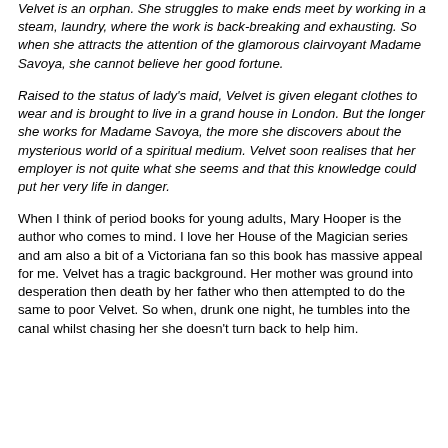Velvet is an orphan. She struggles to make ends meet by working in a steam, laundry, where the work is back-breaking and exhausting. So when she attracts the attention of the glamorous clairvoyant Madame Savoya, she cannot believe her good fortune.
Raised to the status of lady's maid, Velvet is given elegant clothes to wear and is brought to live in a grand house in London. But the longer she works for Madame Savoya, the more she discovers about the mysterious world of a spiritual medium. Velvet soon realises that her employer is not quite what she seems and that this knowledge could put her very life in danger.
When I think of period books for young adults, Mary Hooper is the author who comes to mind. I love her House of the Magician series and am also a bit of a Victoriana fan so this book has massive appeal for me. Velvet has a tragic background. Her mother was ground into desperation then death by her father who then attempted to do the same to poor Velvet. So when, drunk one night, he tumbles into the canal whilst chasing her she doesn't turn back to help him.